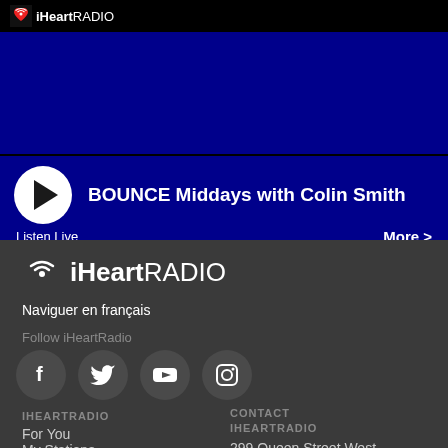[Figure (logo): iHeartRadio logo in small header bar, black background]
[Figure (screenshot): Blue banner background area]
BOUNCE Middays with Colin Smith
Listen Live
More >
[Figure (logo): Large iHeartRadio logo with heart wifi icon, white on dark gray]
Naviguer en français
Follow iHeartRadio
[Figure (illustration): Social media icons: Facebook, Twitter, YouTube, Instagram - white icons on dark gray circles]
IHEARTRADIO
For You
My Stations
CONTACT IHEARTRADIO
299 Queen Street West